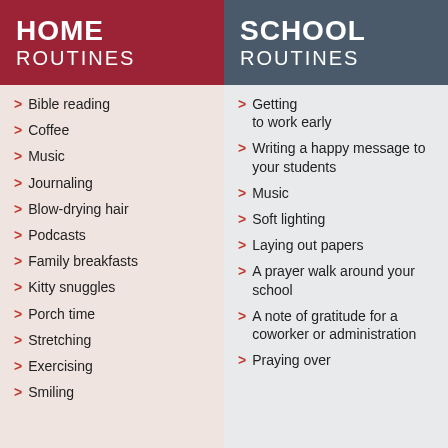HOME ROUTINES
SCHOOL ROUTINES
Bible reading
Coffee
Music
Journaling
Blow-drying hair
Podcasts
Family breakfasts
Kitty snuggles
Porch time
Stretching
Exercising
Smiling
Getting to work early
Writing a happy message to your students
Music
Soft lighting
Laying out papers
A prayer walk around your school
A note of gratitude for a coworker or administration
Praying over